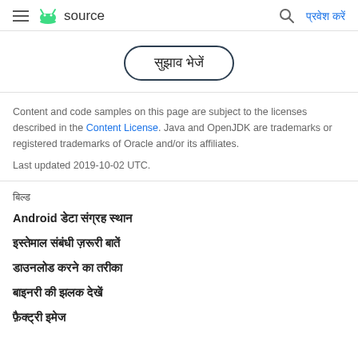≡ 🤖 source   🔍 प्रवेश करें
[Figure (other): Button with rounded border containing Hindi text 'सुझाव भेजें']
Content and code samples on this page are subject to the licenses described in the Content License. Java and OpenJDK are trademarks or registered trademarks of Oracle and/or its affiliates.
Last updated 2019-10-02 UTC.
बिल्ड
Android डेटा संग्रह स्थान
इस्तेमाल संबंधी ज़रूरी बातें
डाउनलोड करने का तरीका
बाइनरी की झलक देखें
फ़ैक्ट्री इमेज